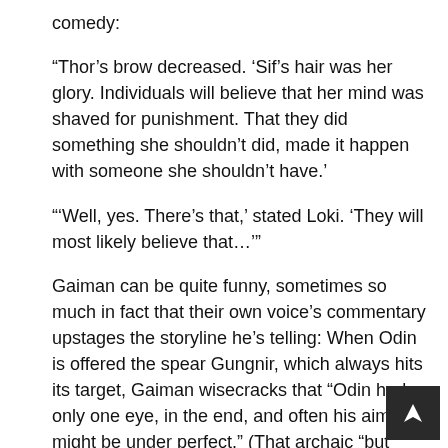comedy:
“Thor’s brow decreased. ‘Sif’s hair was her glory. Individuals will believe that her mind was shaved for punishment. That they did something she shouldn’t did, made it happen with someone she shouldn’t have.’
“‘Well, yes. There’s that,’ stated Loki. ‘They will most likely believe that…’”
Gaiman can be quite funny, sometimes so much in fact that their own voice’s commentary upstages the storyline he’s telling: When Odin is offered the spear Gungnir, which always hits its target, Gaiman wisecracks that “Odin had only one eye, in the end, and often his aim might be under perfect.” (That archaic “but” should not fool anybody.) And he isn’t above an periodic linguistic anachronism with re to a giggle, as when Loki praises a trick perform through the giant Utgardaloki: “That was